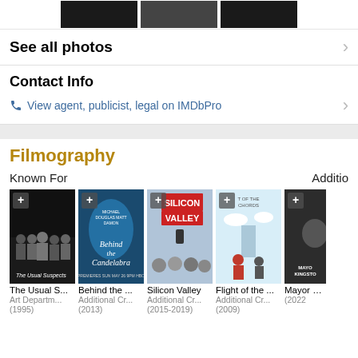[Figure (photo): Three small black and white photo thumbnails at the top of the page]
See all photos
Contact Info
View agent, publicist, legal on IMDBPro
Filmography
Known For
Additio
[Figure (photo): Movie poster: The Usual Suspects (1995)]
The Usual S...
Art Departm...
(1995)
[Figure (photo): Movie poster: Behind the Candelabra (2013)]
Behind the ...
Additional Cr...
(2013)
[Figure (photo): Movie poster: Silicon Valley (2015-2019)]
Silicon Valley
Additional Cr...
(2015-2019)
[Figure (photo): Movie poster: Flight of the Conchords (2009)]
Flight of the ...
Additional Cr...
(2009)
[Figure (photo): Movie poster: Mayor of Kingston (2022) - partially visible]
Mayor of K...
(2022